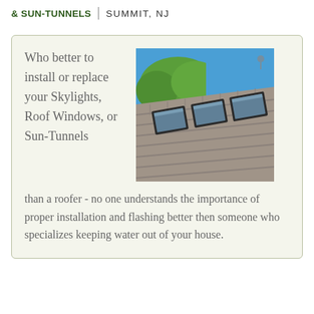& SUN-TUNNELS | SUMMIT, NJ
Who better to install or replace your Skylights, Roof Windows, or Sun-Tunnels than a roofer - no one understands the importance of proper installation and flashing better then someone who specializes keeping water out of your house.
[Figure (photo): Photograph of three flat skylights installed on a gray shingle roof with blue sky and green trees in the background]